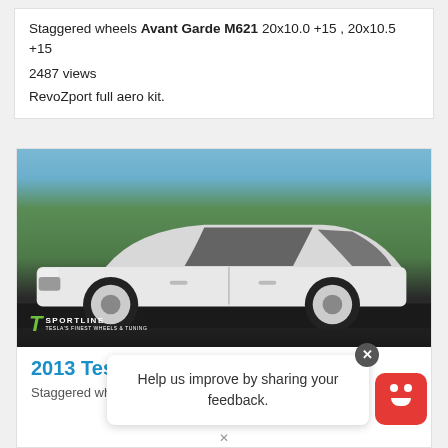Staggered wheels Avant Garde M621 20x10.0 +15 , 20x10.5 +15
2487 views
RevoZport full aero kit.
[Figure (photo): White 2013 Tesla Model S with white aftermarket wheels photographed outdoors with trees in background. T Sportline watermark in lower left.]
2013 Tesla Model S
Staggered wheels T...
Help us improve by sharing your feedback.